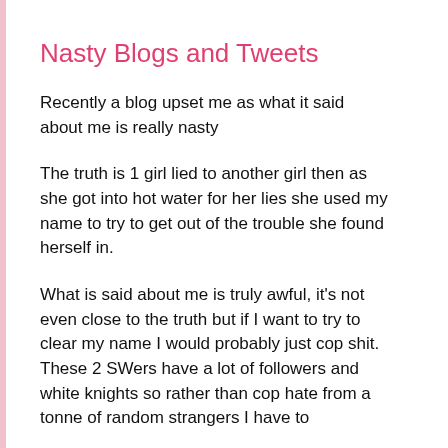Nasty Blogs and Tweets
Recently a blog upset me as what it said about me is really nasty
The truth is 1 girl lied to another girl then as she got into hot water for her lies she used my name to try to get out of the trouble she found herself in.
What is said about me is truly awful, it's not even close to the truth but if I want to try to clear my name I would probably just cop shit.  These 2 SWers have a lot of followers and white knights so rather than cop hate from a tonne of random strangers I have to